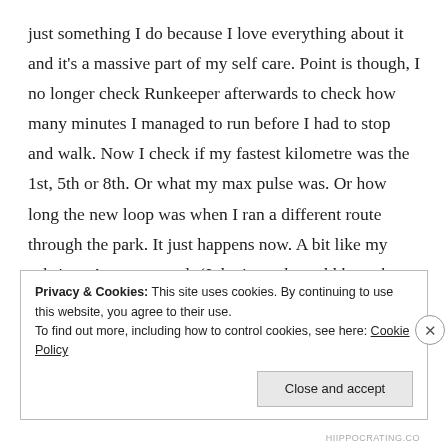just something I do because I love everything about it and it's a massive part of my self care. Point is though, I no longer check Runkeeper afterwards to check how many minutes I managed to run before I had to stop and walk. Now I check if my fastest kilometre was the 1st, 5th or 8th. Or what my max pulse was. Or how long the new loop was when I ran a different route through the park. It just happens now. A bit like my sobriety. A new normal. (I don't need to add here that my new normal is fucking magnificent, do I? Thought not).
Privacy & Cookies: This site uses cookies. By continuing to use this website, you agree to their use.
To find out more, including how to control cookies, see here: Cookie Policy